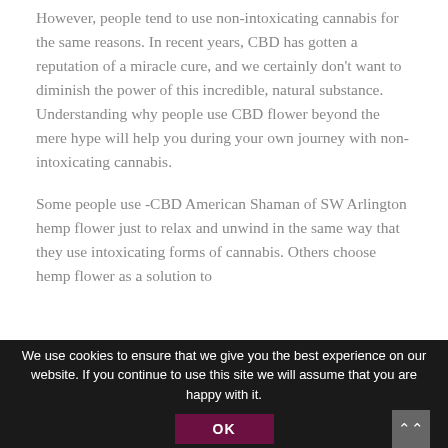However, people tend to use non-intoxicating cannabis for the same reasons. In recent years, CBD has gotten a reputation of a miracle cure, and we certainly don't want to diminish the power of this incredible, natural substance. Understanding why people use CBD flower beyond the mere hype will help you during your own journey with non-intoxicating cannabis.
Some people use -CBD American Shaman of SW Arlington hemp flower just to relax and unwind in the same way that they use intoxicating forms of cannabis. Others choose hemp flower as a solution to
We use cookies to ensure that we give you the best experience on our website. If you continue to use this site we will assume that you are happy with it.